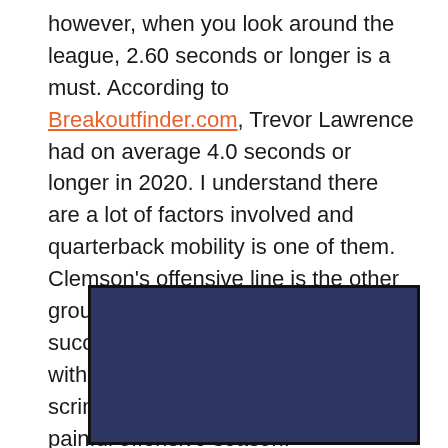however, when you look around the league, 2.60 seconds or longer is a must. According to Breakoutfinder.com, Trevor Lawrence had on average 4.0 seconds or longer in 2020. I understand there are a lot of factors involved and quarterback mobility is one of them. Clemson's offensive line is the other group responsible for offensive success this coming season but without improvement along the line of scrimmage, it could be another painful offensive season.
[Figure (photo): A dark navy/blue rectangular image, possibly a photo or video thumbnail with dark blue background filling the frame.]